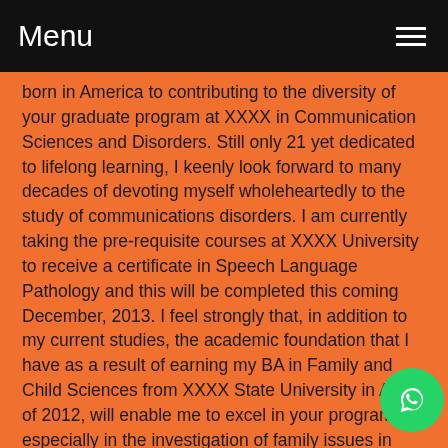Menu
born in America to contributing to the diversity of your graduate program at XXXX in Communication Sciences and Disorders. Still only 21 yet dedicated to lifelong learning, I keenly look forward to many decades of devoting myself wholeheartedly to the study of communications disorders. I am currently taking the pre-requisite courses at XXXX University to receive a certificate in Speech Language Pathology and this will be completed this coming December, 2013. I feel strongly that, in addition to my current studies, the academic foundation that I have as a result of earning my BA in Family and Child Sciences from XXXX State University in April of 2012, will enable me to excel in your program, especially in the investigation of family issues in SLP.
I want to help you to get accepted to Graduate School in SLP
An individual pursuing speech pathology must have a true